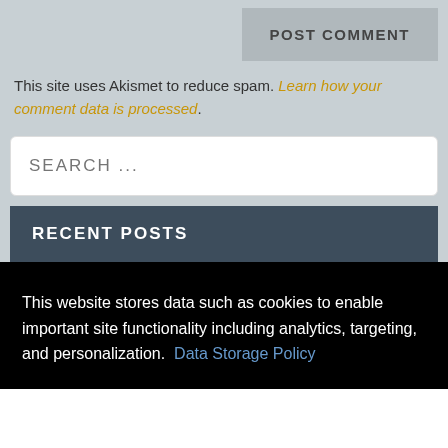POST COMMENT
This site uses Akismet to reduce spam. Learn how your comment data is processed.
SEARCH ...
RECENT POSTS
This website stores data such as cookies to enable important site functionality including analytics, targeting, and personalization. Data Storage Policy